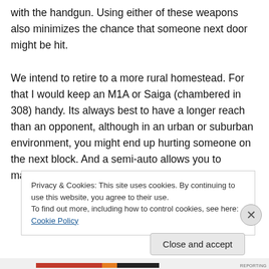with the handgun. Using either of these weapons also minimizes the chance that someone next door might be hit.

We intend to retire to a more rural homestead. For that I would keep an M1A or Saiga (chambered in 308) handy. Its always best to have a longer reach than an opponent, although in an urban or suburban environment, you might end up hurting someone on the next block. And a semi-auto allows you to maintain your sight
Privacy & Cookies: This site uses cookies. By continuing to use this website, you agree to their use.
To find out more, including how to control cookies, see here: Cookie Policy